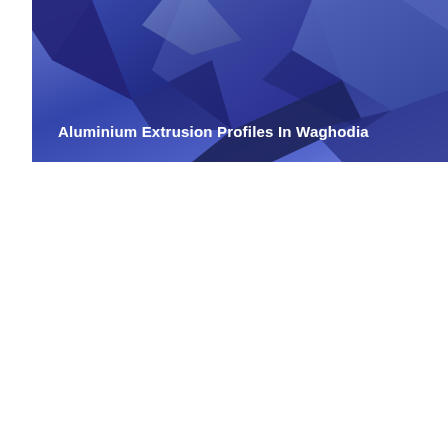[Figure (illustration): Blue gradient banner image with large 3D metallic dark-blue angular/geometric shapes resembling aluminium extrusion profiles, with text overlay reading 'Aluminium Extrusion Profiles In Waghodia']